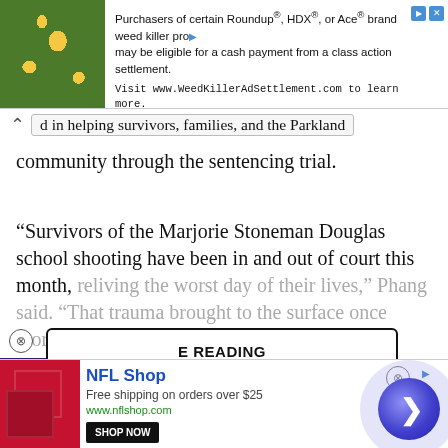[Figure (other): Top banner advertisement: image of yellow flowers/shrubs on left, text about Roundup/HDX/Ace weed killer class action settlement, URL www.WeedKillerAdSettlement.com]
d in helping survivors, families, and the Parkland community through the sentencing trial.
“Survivors of the Marjorie Stoneman Douglas school shooting have been in and out of court this month, reliving the worst day of their lives,” Phang said. “That trauma brought to the surface once more. But there’s
[Figure (other): Continue Reading button overlay with close X, Media Noise podcast ad (BSM, purple background, photo of man), Nielsen logo advertisement]
[Figure (other): NFL Shop bottom banner ad: red product image, NFL Shop name in blue, Free shipping on orders over $25, www.nflshop.com, SHOP NOW button, close button, blue circle arrow button]